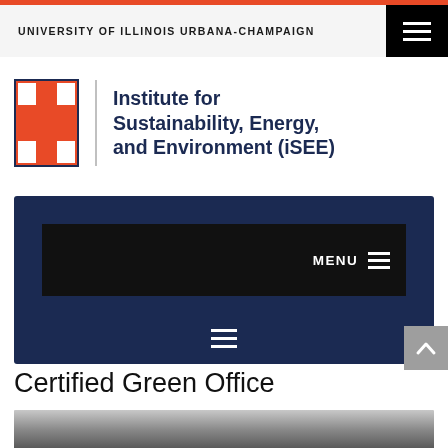UNIVERSITY OF ILLINOIS URBANA-CHAMPAIGN
Institute for Sustainability, Energy, and Environment (iSEE)
[Figure (logo): University of Illinois Block-I logo in orange with blue border, followed by a vertical divider and the iSEE institute name]
[Figure (screenshot): Dark navy navigation banner with inner black bar showing MENU text and hamburger icon, plus a second hamburger icon below]
Certified Green Office
[Figure (photo): Partial view of a building interior or exterior, grey tones, bottom of the page]